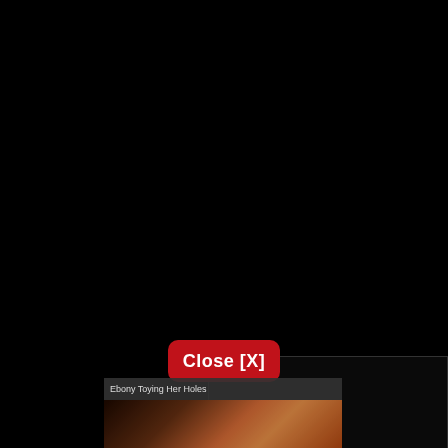[Figure (screenshot): Dark video player interface showing a mostly black video panel with UI controls overlay, a red 'Close [X]' button centered over the video, a title bar reading 'Ebony Toying Her Holes' with timestamp '00:32', and a thumbnail preview at the bottom showing a person in a red top against a warm background.]
Close [X]
Ebony Toying Her Holes